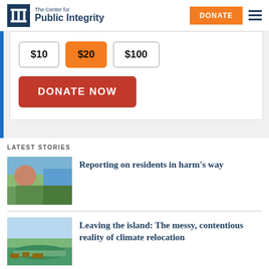The Center for Public Integrity — DONATE
[Figure (screenshot): Donation widget with amount buttons $10, $20 (selected), $100, and a red DONATE NOW button]
LATEST STORIES
[Figure (photo): Photo of a woman with glasses outdoors near a waterway with trees]
Reporting on residents in harm's way
[Figure (photo): Aerial photo of a coastal island community]
Leaving the island: The messy, contentious reality of climate relocation